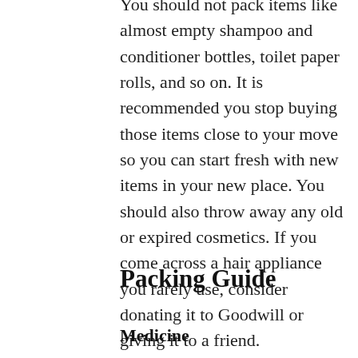You should not pack items like almost empty shampoo and conditioner bottles, toilet paper rolls, and so on. It is recommended you stop buying those items close to your move so you can start fresh with new items in your new place. You should also throw away any old or expired cosmetics. If you come across a hair appliance you rarely use, consider donating it to Goodwill or giving it to a friend.
Packing Guide
Medicine